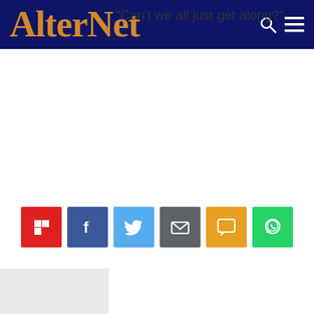AlterNet
[Figure (screenshot): White advertisement placeholder area]
[Figure (infographic): Social sharing buttons row: Flipboard (red), Facebook (blue), Twitter (light blue), Email (gray), SMS (orange), WhatsApp (green)]
[Figure (photo): Gray placeholder image on left side]
"Can't we all just get along?"